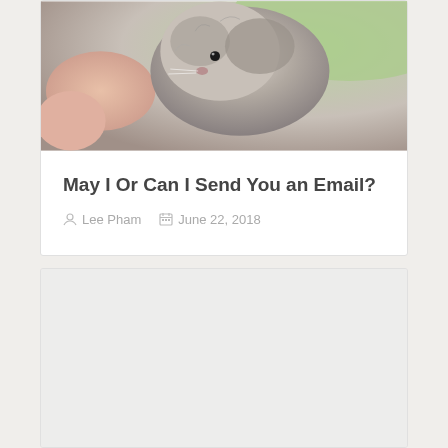[Figure (photo): A hamster being held in a person's hand, close-up photo with green background]
May I Or Can I Send You an Email?
Lee Pham   June 22, 2018
[Figure (other): No Preview placeholder image with light grey background]
The Health Benefits of Yoghurt